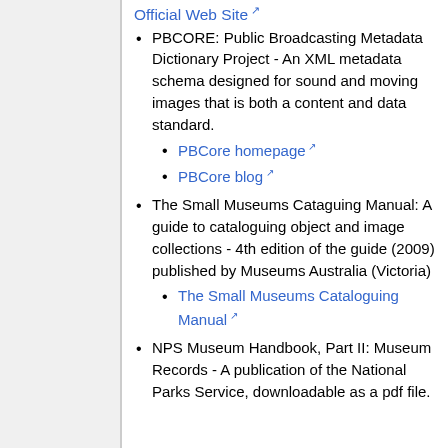Official Web Site [link]
PBCORE: Public Broadcasting Metadata Dictionary Project - An XML metadata schema designed for sound and moving images that is both a content and data standard.
PBCore homepage [link]
PBCore blog [link]
The Small Museums Cataguing Manual: A guide to cataloguing object and image collections - 4th edition of the guide (2009) published by Museums Australia (Victoria)
The Small Museums Cataloguing Manual [link]
NPS Museum Handbook, Part II: Museum Records - A publication of the National Parks Service, downloadable as a pdf file.